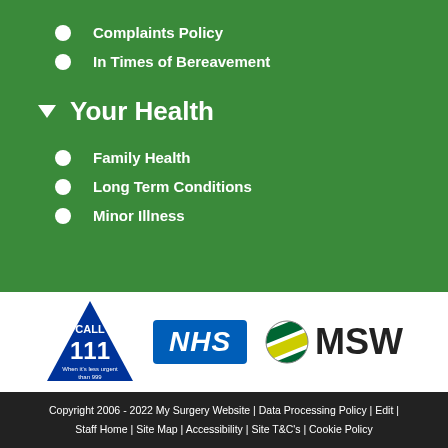Complaints Policy
In Times of Bereavement
Your Health
Family Health
Long Term Conditions
Minor Illness
[Figure (logo): Call 111 triangle logo, NHS blue logo, MSW logo with globe icon]
Copyright 2006 - 2022 My Surgery Website | Data Processing Policy | Edit | Staff Home | Site Map | Accessibility | Site T&C's | Cookie Policy